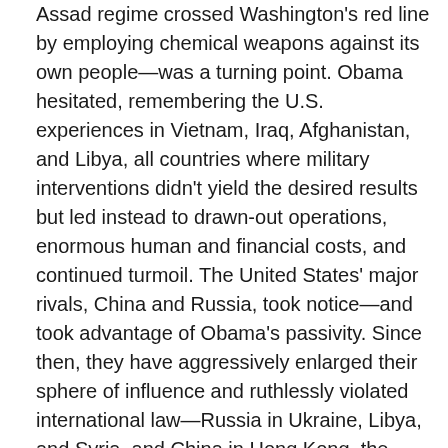Assad regime crossed Washington's red line by employing chemical weapons against its own people—was a turning point. Obama hesitated, remembering the U.S. experiences in Vietnam, Iraq, Afghanistan, and Libya, all countries where military interventions didn't yield the desired results but led instead to drawn-out operations, enormous human and financial costs, and continued turmoil. The United States' major rivals, China and Russia, took notice—and took advantage of Obama's passivity. Since then, they have aggressively enlarged their sphere of influence and ruthlessly violated international law—Russia in Ukraine, Libya, and Syria, and China in Hong Kong, the South China Sea, and in its policy toward minority groups, including the Uyghurs. The volatility of the Trump administration did nothing to curb the expansionist ambitions of Beijing and Moscow.